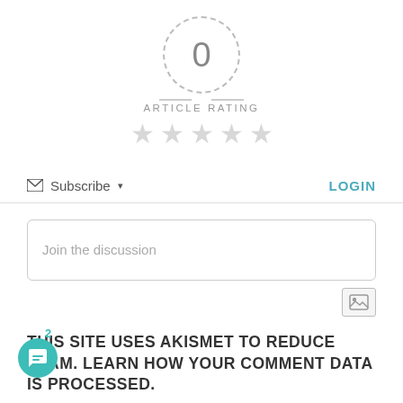[Figure (other): Article rating widget showing a dashed circle with 0 in the center, dashes on either side, 'ARTICLE RATING' label, and 5 empty grey stars below]
Subscribe ▾
LOGIN
Join the discussion
[Figure (other): Image upload icon button]
THIS SITE USES AKISMET TO REDUCE SPAM. LEARN HOW YOUR COMMENT DATA IS PROCESSED.
[Figure (other): Teal chat widget circle button with message icon, with badge showing 2]